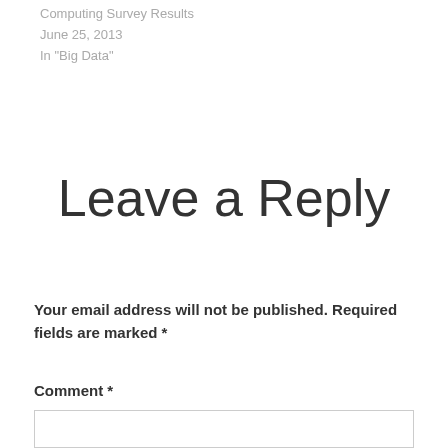Computing Survey Results
June 25, 2013
In "Big Data"
Leave a Reply
Your email address will not be published. Required fields are marked *
Comment *